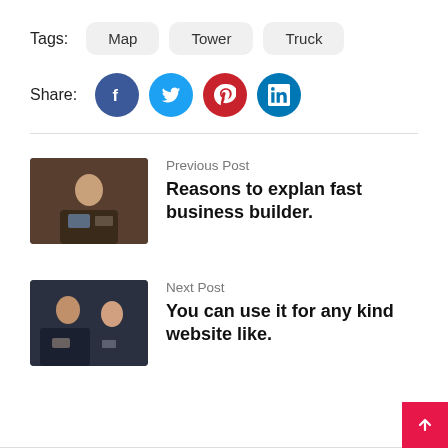Tags: Map Tower Truck
Share:
Previous Post
Reasons to explan fast business builder.
[Figure (photo): People sitting at a restaurant table, one person appears to be working on a laptop or reading, warm interior lighting]
Next Post
You can use it for any kind website like.
[Figure (photo): Two women sitting at a table, appearing to have a conversation, modern setting]